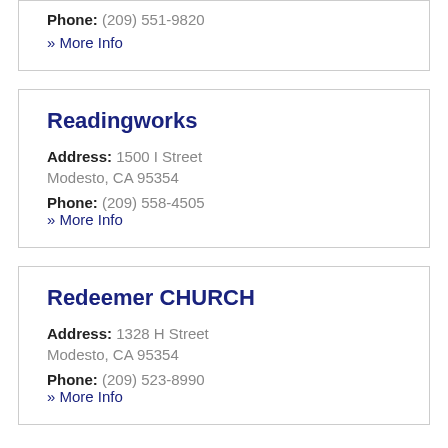Phone: (209) 551-9820
» More Info
Readingworks
Address: 1500 I Street Modesto, CA 95354
Phone: (209) 558-4505
» More Info
Redeemer CHURCH
Address: 1328 H Street Modesto, CA 95354
Phone: (209) 523-8990
» More Info